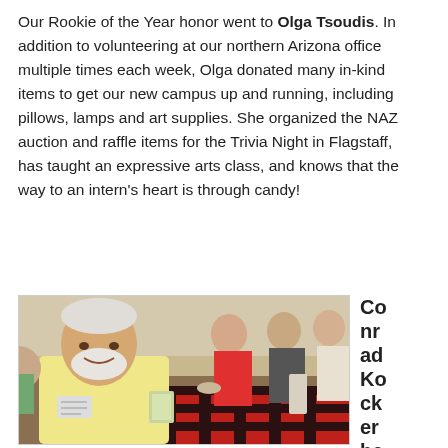Our Rookie of the Year honor went to Olga Tsoudis. In addition to volunteering at our northern Arizona office multiple times each week, Olga donated many in-kind items to get our new campus up and running, including pillows, lamps and art supplies. She organized the NAZ auction and raffle items for the Trivia Night in Flagstaff, has taught an expressive arts class, and knows that the way to an intern's heart is through candy!
[Figure (photo): A man with white hair and beard wearing a yellow shirt smiling at the camera, standing at a table with a red and black plaid tablecloth, with other people in the background in what appears to be an indoor event setting.]
Conrad Kockerbeck, ou